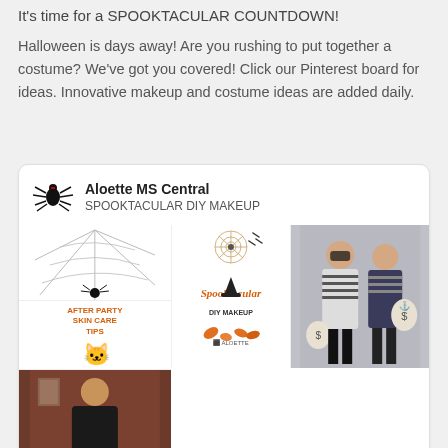It's time for a SPOOKTACULAR COUNTDOWN!

Halloween is days away! Are you rushing to put together a costume? We've got you covered! Click our Pinterest board for ideas. Innovative makeup and costume ideas are added daily.
[Figure (screenshot): Pinterest-style card from 'Aloette MS Central' with subtitle 'SPOOKTACULAR DIY MAKEUP'. The card contains multiple Halloween-themed images: a spider web with black spider, a black cat with 'After Party Skin Care Tips' text in orange, a photo of a man in a black t-shirt, a collage with spider web graphic, 'Spooktacular DIY Makeup' branding and orange Aloette leaf logos, and a photo of two people in robber/bandit Halloween costumes holding money bags.]